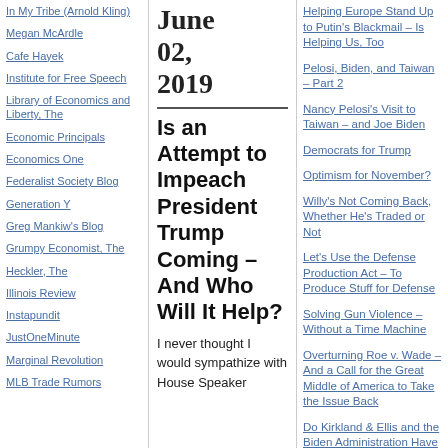In My Tribe (Arnold Kling)
Megan McArdle
Cafe Hayek
Institute for Free Speech
Library of Economics and Liberty, The
Economic Principals
Economics One
Federalist Society Blog
Generation Y
Greg Mankiw's Blog
Grumpy Economist, The
Heckler, The
Illinois Review
Instapundit
JustOneMinute
Marginal Revolution
MLB Trade Rumors
June 02, 2019
Is an Attempt to Impeach President Trump Coming – And Who Will It Help?
I never thought I would sympathize with House Speaker
Helping Europe Stand Up to Putin's Blackmail – Is Helping Us, Too
Pelosi, Biden, and Taiwan – Part 2
Nancy Pelosi's Visit to Taiwan – and Joe Biden
Democrats for Trump
Optimism for November?
Willy's Not Coming Back, Whether He's Traded or Not
Let's Use the Defense Production Act – To Produce Stuff for Defense
Solving Gun Violence – Without a Time Machine
Overturning Roe v. Wade – And a Call for the Great Middle of America to Take the Issue Back
Do Kirkland & Ellis and the Biden Administration Have the Solution to Crime?
RECENT COMMENTS
Oliver Johnson on The Great Georgia